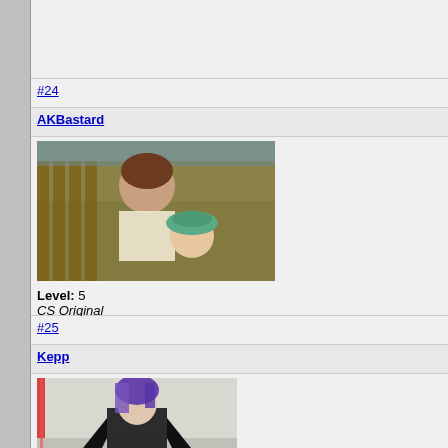behavior not happ
#24
AKBastard
Posted:
[Figure (photo): A man leaning toward a baby wearing a green bowl-shaped hat, outdoors near a wooden fence]
Level: 5
CS Original
The cons People s
#25
Kepp
Posted:
[Figure (illustration): Manga-style illustration of a female character with purple hair holding a weapon, in black and white with some red accents]
You can I don't sm 2011.